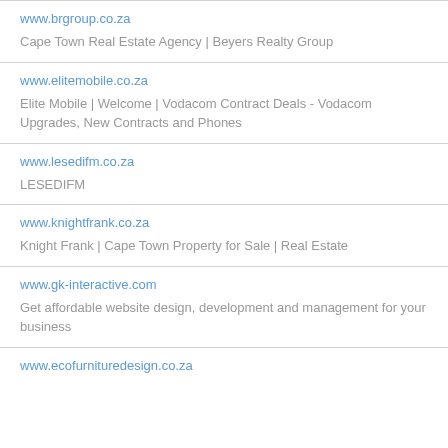www.brgroup.co.za
Cape Town Real Estate Agency | Beyers Realty Group
www.elitemobile.co.za
Elite Mobile | Welcome | Vodacom Contract Deals - Vodacom Upgrades, New Contracts and Phones
www.lesedifm.co.za
LESEDIFM
www.knightfrank.co.za
Knight Frank | Cape Town Property for Sale | Real Estate
www.gk-interactive.com
Get affordable website design, development and management for your business
www.ecofurnituredesign.co.za